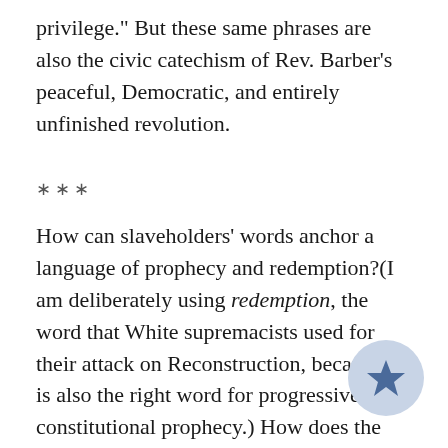privilege." But these same phrases are also the civic catechism of Rev. Barber's peaceful, Democratic, and entirely unfinished revolution.
***
How can slaveholders' words anchor a language of prophecy and redemption?(I am deliberately using redemption, the word that White supremacists used for their attack on Reconstruction, because it is also the right word for progressive constitutional prophecy.) How does the record of hypocrisy and violence call Moral Mondays marchers – as Rev. Barber put it in his refrain at the mass rally of Feb. 8, 2014 – to higher ground...